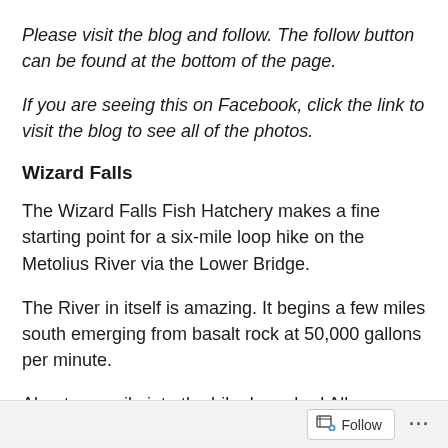Please visit the blog and follow. The follow button can be found at the bottom of the page.
If you are seeing this on Facebook, click the link to visit the blog to see all of the photos.
Wizard Falls
The Wizard Falls Fish Hatchery makes a fine starting point for a six-mile loop hike on the Metolius River via the Lower Bridge.
The River in itself is amazing. It begins a few miles south emerging from basalt rock at 50,000 gallons per minute.
About one mile into the hike I reached Allen Springs, a
Follow ...